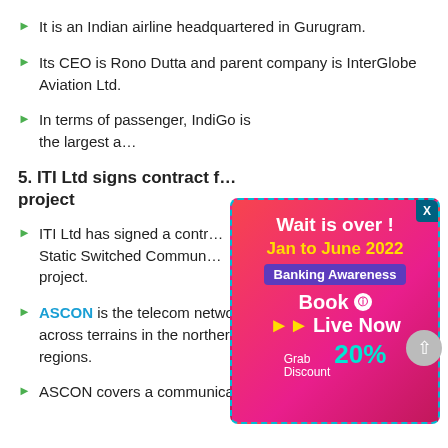It is an Indian airline headquartered in Gurugram.
Its CEO is Rono Dutta and parent company is InterGlobe Aviation Ltd.
In terms of passenger, IndiGo is the largest a…
5. ITI Ltd signs contract fe… project
ITI Ltd has signed a contr… Static Switched Commun… project.
ASCON is the telecom network of the Army. It is spread across terrains in the northern, north-eastern and western regions.
ASCON covers a communication network based on IP
[Figure (infographic): Advertisement overlay with pink/red gradient background. Text reads: 'Wait is over ! Jan to June 2022 Banking Awareness Book is Live Now Grab Discount 20%'. Has a close X button in top-right corner.]